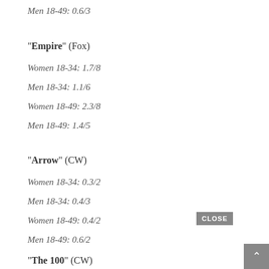Men 18-49: 0.6/3
"Empire" (Fox)
Women 18-34: 1.7/8
Men 18-34: 1.1/6
Women 18-49: 2.3/8
Men 18-49: 1.4/5
"Arrow" (CW)
Women 18-34: 0.3/2
Men 18-34: 0.4/3
Women 18-49: 0.4/2
Men 18-49: 0.6/2
"The 100" (CW)